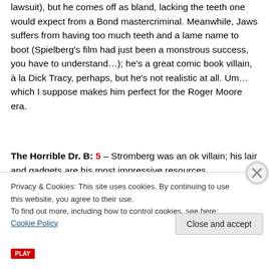lawsuit), but he comes off as bland, lacking the teeth one would expect from a Bond mastercriminal. Meanwhile, Jaws suffers from having too much teeth and a lame name to boot (Spielberg's film had just been a monstrous success, you have to understand…); he's a great comic book villain, à la Dick Tracy, perhaps, but he's not realistic at all. Um… which I suppose makes him perfect for the Roger Moore era.
The Horrible Dr. B: 5 – Stromberg was an ok villain; his lair and gadgets are his most impressive resources.
[truncated line]
Privacy & Cookies: This site uses cookies. By continuing to use this website, you agree to their use. To find out more, including how to control cookies, see here: Cookie Policy